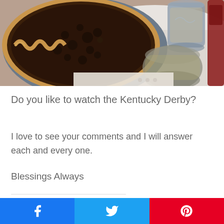[Figure (photo): A chocolate pecan pie in a metal pie dish with crimped crust edges, and glass candle holders/drinkware beside it on a white surface]
Do you like to watch the Kentucky Derby?
I love to see your comments and I will answer each and every one.
Blessings Always